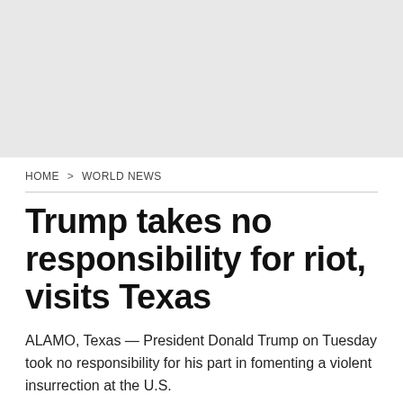[Figure (other): Gray banner placeholder image at the top of the page]
HOME > WORLD NEWS
Trump takes no responsibility for riot, visits Texas
ALAMO, Texas — President Donald Trump on Tuesday took no responsibility for his part in fomenting a violent insurrection at the U.S.